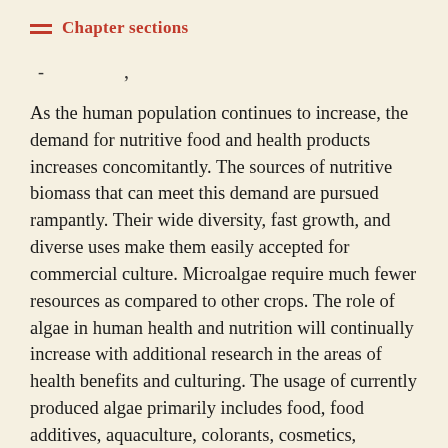Chapter sections
As the human population continues to increase, the demand for nutritive food and health products increases concomitantly. The sources of nutritive biomass that can meet this demand are pursued rampantly. Their wide diversity, fast growth, and diverse uses make them easily accepted for commercial culture. Microalgae require much fewer resources as compared to other crops. The role of algae in human health and nutrition will continually increase with additional research in the areas of health benefits and culturing. The usage of currently produced algae primarily includes food, food additives, aquaculture, colorants, cosmetics, pharmaceuticals, and nutraceuticals. Very few algal species are being cultivated for human use. There